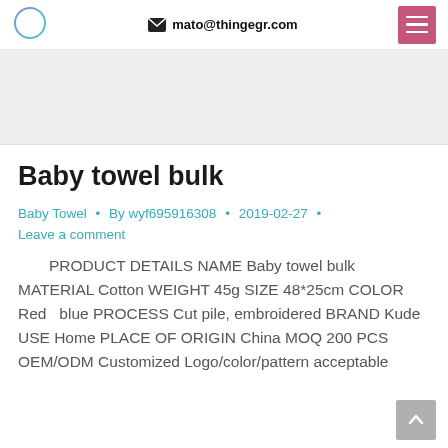mato@thingegr.com
[Figure (illustration): Light gray banner/image placeholder area]
Baby towel bulk
Baby Towel • By wyf695916308 • 2019-02-27 • Leave a comment
PRODUCT DETAILS NAME Baby towel bulk MATERIAL Cotton WEIGHT 45g SIZE 48*25cm COLOR Red  blue PROCESS Cut pile, embroidered BRAND Kude USE Home PLACE OF ORIGIN China MOQ 200 PCS OEM/ODM Customized Logo/color/pattern acceptable